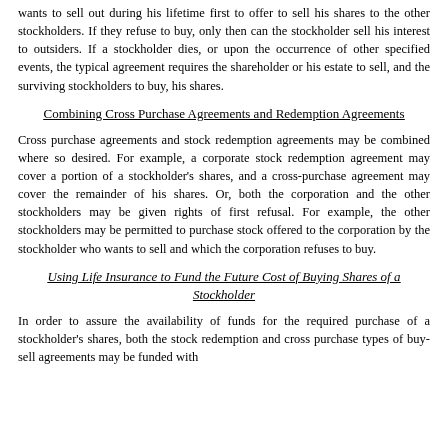wants to sell out during his lifetime first to offer to sell his shares to the other stockholders. If they refuse to buy, only then can the stockholder sell his interest to outsiders. If a stockholder dies, or upon the occurrence of other specified events, the typical agreement requires the shareholder or his estate to sell, and the surviving stockholders to buy, his shares.
Combining Cross Purchase Agreements and Redemption Agreements
Cross purchase agreements and stock redemption agreements may be combined where so desired. For example, a corporate stock redemption agreement may cover a portion of a stockholder's shares, and a cross-purchase agreement may cover the remainder of his shares. Or, both the corporation and the other stockholders may be given rights of first refusal. For example, the other stockholders may be permitted to purchase stock offered to the corporation by the stockholder who wants to sell and which the corporation refuses to buy.
Using Life Insurance to Fund the Future Cost of Buying Shares of a Stockholder
In order to assure the availability of funds for the required purchase of a stockholder's shares, both the stock redemption and cross purchase types of buy-sell agreements may be funded with